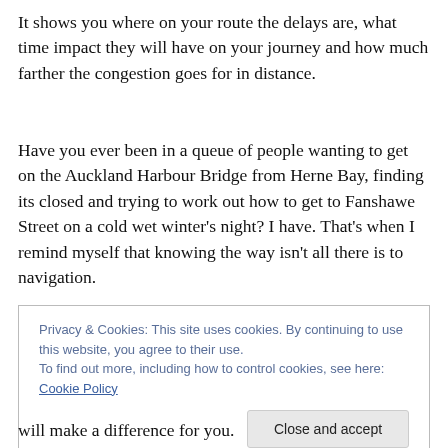It shows you where on your route the delays are, what time impact they will have on your journey and how much farther the congestion goes for in distance.
Have you ever been in a queue of people wanting to get on the Auckland Harbour Bridge from Herne Bay, finding its closed and trying to work out how to get to Fanshawe Street on a cold wet winter’s night? I have. That’s when I remind myself that knowing the way isn’t all there is to navigation.
Privacy & Cookies: This site uses cookies. By continuing to use this website, you agree to their use.
To find out more, including how to control cookies, see here: Cookie Policy
will make a difference for you.